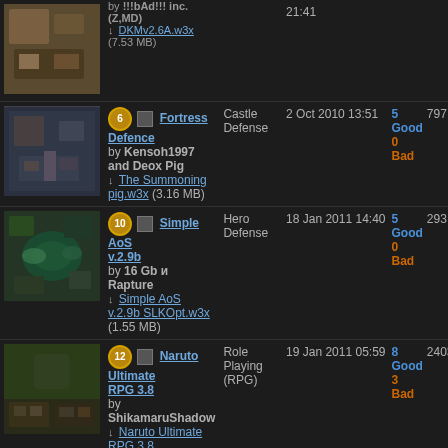| Thumbnail | Info | Category | Date | Rating | Downloads |
| --- | --- | --- | --- | --- | --- |
| [map image] | by !!!bAd!!! inc.(Z,MD)
↓ DKMv2.6A.w3x (7.53 MB) |  | 21:41 |  |  |
| [map image] | ⑥ Fortress Defence
by Kensoh1997 and Deox Pig
↓ The Summoning pig.w3x (3.16 MB) | Castle Defense | 2 Oct 2010 13:51 | 5 Good 0 Bad | 797 |
| [map image] | ⑩ Simple AoS v.2.9b
by 16 Gb и Rapture
↓ Simple AoS v.2.9b SLKOpt.w3x (1.55 MB) | Hero Defense | 18 Jan 2011 14:40 | 5 Good 0 Bad | 293 |
| [map image] | ⑫ Naruto Ultimate RPG 3.8
by ShikamaruShadow
↓ Naruto Ultimate RPG 3.8 NoCoolDown.w3x (5.28 MB) | Role Playing (RPG) | 19 Jan 2011 05:59 | 8 Good 3 Bad | 2403 |
| [map image] | ④ Taigama WarChasers
by Taigama--Black Zero
↓ Taigama WarChasers.w3x (1.95 MB) | Campaign | 5 Mar 2011 02:42 | 5 Good 0 Bad | 874 |
| [map image] | ⑰ Tom and Jerry | Other | 28 | 7 Good | 5111 |